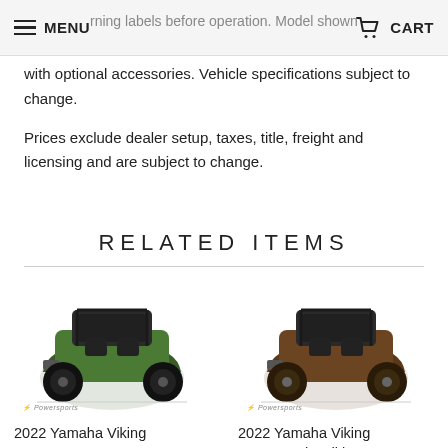MENU | CART
warning labels before operation. Model shown with optional accessories. Vehicle specifications subject to change.

Prices exclude dealer setup, taxes, title, freight and licensing and are subject to change.
RELATED ITEMS
[Figure (photo): 2022 Yamaha Viking EPS side-by-side UTV in green color, shown from the front-left angle]
2022 Yamaha Viking EPS
[Figure (photo): 2022 Yamaha Viking EPS Ranch Edition side-by-side UTV in brown/camo color, shown from the front-left angle]
2022 Yamaha Viking EPS Ranch Edition